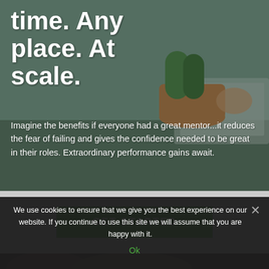time. Any place. At scale.
Imagine the benefits if everyone had a great mentor...it reduces the fear of failing and gives the confidence needed to be great in their roles. Extraordinary performance gains await.
[Figure (other): Call-to-action button section with light gray background containing a green GET STARTED button]
We use cookies to ensure that we give you the best experience on our website. If you continue to use this site we will assume that you are happy with it.
Ok